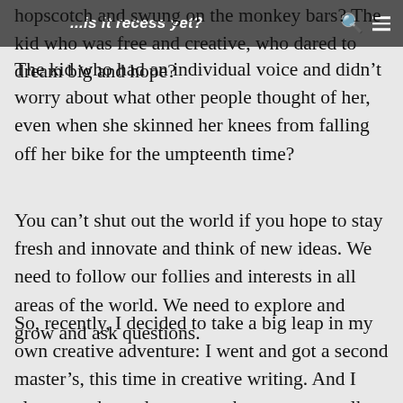...is it recess yet?
hopscotch and swung on the monkey bars? The kid who was free and creative, who dared to dream big and hope?
The kid who had an individual voice and didn’t worry about what other people thought of her, even when she skinned her knees from falling off her bike for the umpteenth time?
You can’t shut out the world if you hope to stay fresh and innovate and think of new ideas. We need to follow our follies and interests in all areas of the world. We need to explore and grow and ask questions.
So, recently, I decided to take a big leap in my own creative adventure: I went and got a second master’s, this time in creative writing. And I also started a podcast, to make a space to talk about the things that are on my mind, things like learning, creativity, vulnerability, and